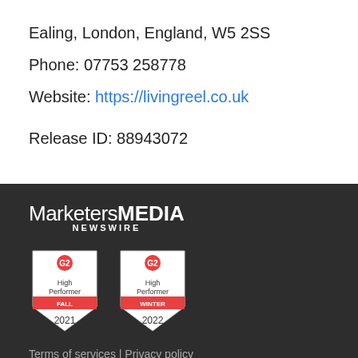Ealing, London, England, W5 2SS
Phone: 07753 258778
Website: https://livingreel.co.uk
Release ID: 88943072
[Figure (logo): MarketersMEDIA NEWSWIRE logo in white text on dark background]
[Figure (infographic): Two G2 High Performer badges: Fall 2021 and Winter 2022]
Terms of services | Privacy policy